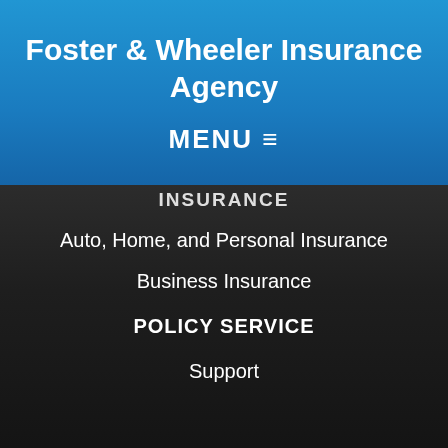Foster & Wheeler Insurance Agency
MENU ≡
INSURANCE
Auto, Home, and Personal Insurance
Business Insurance
POLICY SERVICE
Support